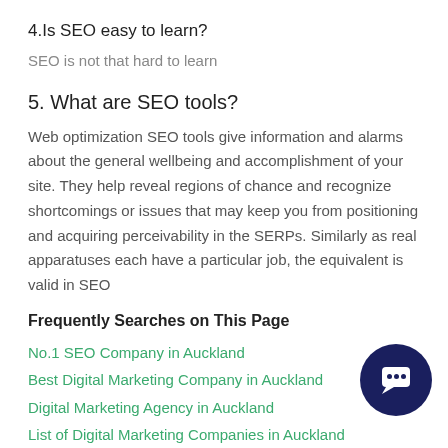4.Is SEO easy to learn?
SEO is not that hard to learn
5. What are SEO tools?
Web optimization SEO tools give information and alarms about the general wellbeing and accomplishment of your site. They help reveal regions of chance and recognize shortcomings or issues that may keep you from positioning and acquiring perceivability in the SERPs. Similarly as real apparatuses each have a particular job, the equivalent is valid in SEO
Frequently Searches on This Page
No.1 SEO Company in Auckland
Best Digital Marketing Company in Auckland
Digital Marketing Agency in Auckland
List of Digital Marketing Companies in Auckland